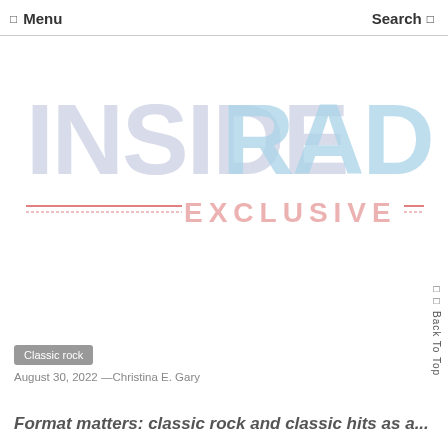Menu  Search
[Figure (logo): Inside Radio Exclusive logo — INSIDE in light gray/blue large letters, RADIO in light blue large letters, EXCLUSIVE in light red/pink letters with decorative double lines on each side]
Classic rock
August 30, 2022 —Christina E. Gary
Format matters: classic rock and classic hits as a...